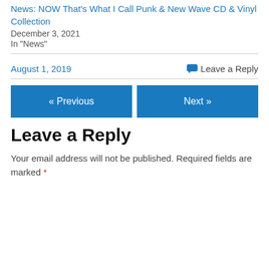News: NOW That's What I Call Punk & New Wave CD & Vinyl Collection
December 3, 2021
In "News"
August 1, 2019
Leave a Reply
« Previous
Next »
Leave a Reply
Your email address will not be published. Required fields are marked *